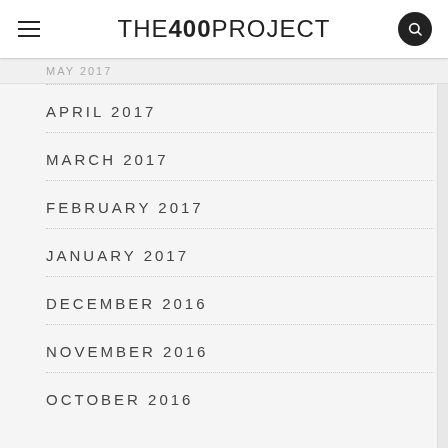THE 400 PROJECT
APRIL 2017
MARCH 2017
FEBRUARY 2017
JANUARY 2017
DECEMBER 2016
NOVEMBER 2016
OCTOBER 2016